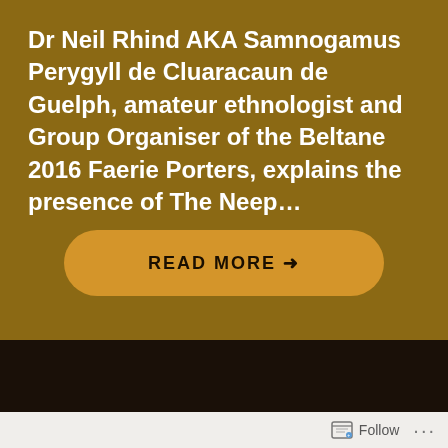Dr Neil Rhind AKA Samnogamus Perygyll de Cluaracaun de Guelph, amateur ethnologist and Group Organiser of the Beltane 2016 Faerie Porters, explains the presence of The Neep...
READ MORE →
BEFORE THE FESTIVAL
Follow